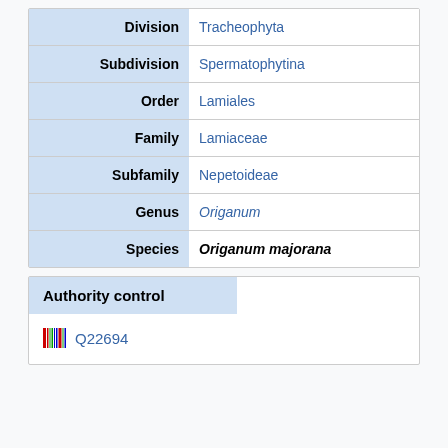| Rank | Name |
| --- | --- |
| Division | Tracheophyta |
| Subdivision | Spermatophytina |
| Order | Lamiales |
| Family | Lamiaceae |
| Subfamily | Nepetoideae |
| Genus | Origanum |
| Species | Origanum majorana |
Authority control
Q22694